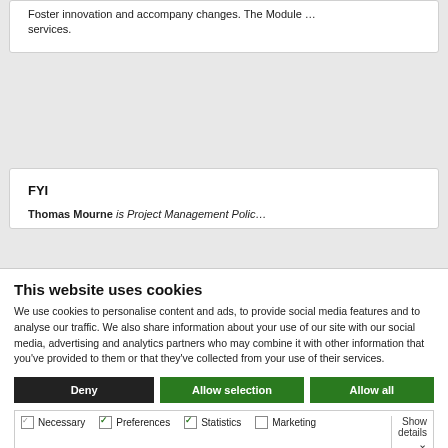Foster innovation and accompany changes. The Module … services.
FYI
Thomas Mourne is Project Management Polic…
This website uses cookies
We use cookies to personalise content and ads, to provide social media features and to analyse our traffic. We also share information about your use of our site with our social media, advertising and analytics partners who may combine it with other information that you've provided to them or that they've collected from your use of their services.
Deny | Allow selection | Allow all
Necessary  Preferences  Statistics  Marketing  Show details